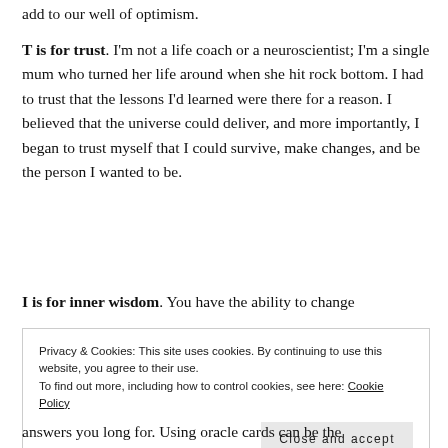add to our well of optimism.
T is for trust. I'm not a life coach or a neuroscientist; I'm a single mum who turned her life around when she hit rock bottom. I had to trust that the lessons I'd learned were there for a reason. I believed that the universe could deliver, and more importantly, I began to trust myself that I could survive, make changes, and be the person I wanted to be.
I is for inner wisdom. You have the ability to change
Privacy & Cookies: This site uses cookies. By continuing to use this website, you agree to their use. To find out more, including how to control cookies, see here: Cookie Policy
Close and accept
answers you long for. Using oracle cards can be the